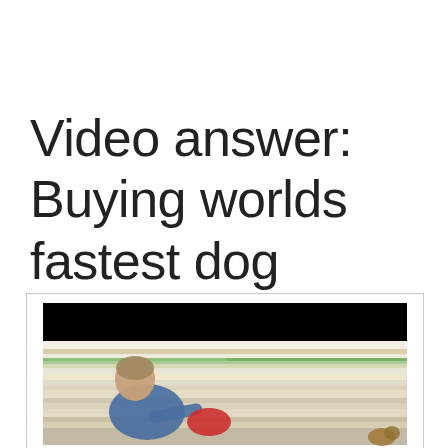Video answer: Buying worlds fastest dog everything she touches!
[Figure (photo): Video thumbnail showing a man in a blue t-shirt leaning forward with motion blur streaks of color in the background, reaching toward something with a red object visible. The top portion of the image has a black bar.]